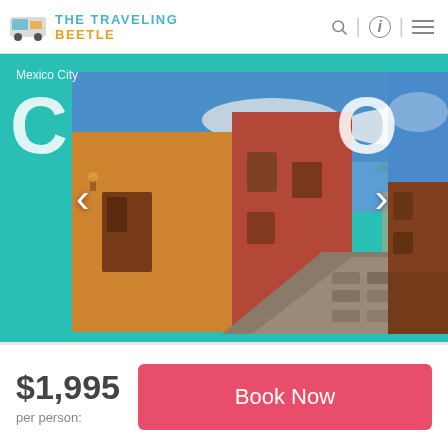THE TRAVELING BEETLE
[Figure (photo): Carousel banner showing a Mexican cobblestone street scene with colorful colonial buildings in warm reds, yellows and oranges, with blue sky and clouds. Text overlay shows 'Mexico City' and large partial letters 'C' and 'O'. Navigation arrows visible on left and right. A second partially visible photo is on the right edge.]
$1,995
per person:
Book Now